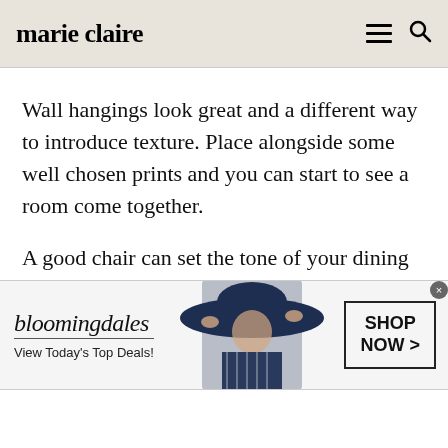marie claire
Wall hangings look great and a different way to introduce texture.  Place alongside some well chosen prints and you can start to see a room come together.
A good chair can set the tone of your dining room, you can choose a great shape in a darker
[Figure (infographic): Bloomingdales advertisement banner with logo, tagline 'View Today's Top Deals!', an image of a woman wearing a wide-brim hat, and a 'SHOP NOW >' button.]